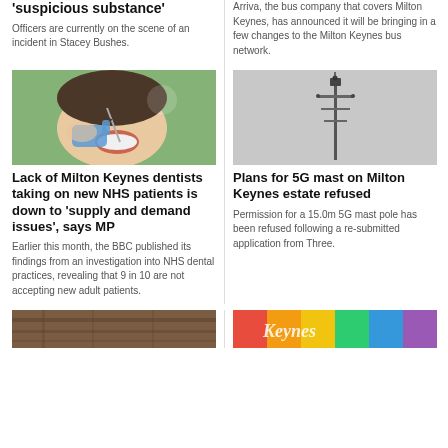'suspicious substance'
Officers are currently on the scene of an incident in Stacey Bushes.
Arriva, the bus company that covers Milton Keynes, has announced it will be bringing in a few changes to the Milton Keynes bus network.
[Figure (photo): Woman at dentist having dental work done]
Lack of Milton Keynes dentists taking on new NHS patients is down to 'supply and demand issues', says MP
Earlier this month, the BBC published its findings from an investigation into NHS dental practices, revealing that 9 in 10 are not accepting new adult patients.
[Figure (photo): 5G mobile phone mast tower against grey sky]
Plans for 5G mast on Milton Keynes estate refused
Permission for a 15.0m 5G mast pole has been refused following a re-submitted application from Three.
[Figure (photo): Bottom left image - brown wooden surface]
[Figure (photo): Bottom right image - colourful Milton Keynes branding]